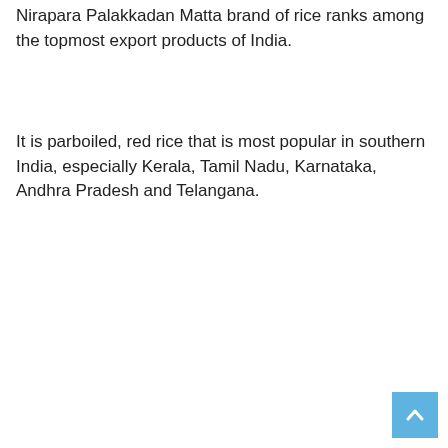Nirapara Palakkadan Matta brand of rice ranks among the topmost export products of India.
It is parboiled, red rice that is most popular in southern India, especially Kerala, Tamil Nadu, Karnataka, Andhra Pradesh and Telangana.